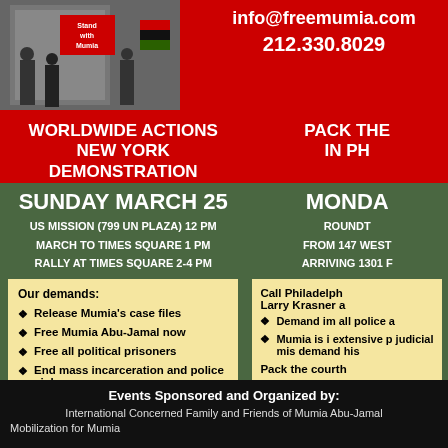[Figure (photo): Photo of protest/demonstration with people holding signs including a 'Stand with Mumia' sign]
info@freemumia.com
212.330.8029
WORLDWIDE ACTIONS NEW YORK DEMONSTRATION
PACK THE IN PH
SUNDAY MARCH 25
US MISSION (799 UN PLAZA) 12 PM
MARCH to TIMES SQUARE 1 PM
RALLY at TIMES SQUARE 2-4 PM
MONDAY
Roundt
from 147 WEST
arriving 1301 F
Our demands:
Release Mumia's case files
Free Mumia Abu-Jamal now
Free all political prisoners
End mass incarceration and police violence
Liberation and reparations for all oppressed and occupied communities
Call Philadelphia
Larry Krasner a
Demand im all police a
Mumia is i extensive p judicial mis demand his
Pack the courth
For bus
212.330.80
Events Sponsored and Organized by:
International Concerned Family and Friends of Mumia Abu-Jamal
Mobilization for Mumia